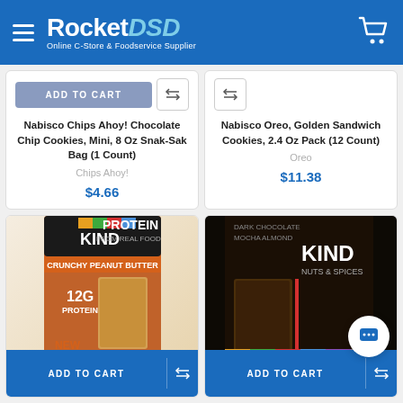RocketDSD — Online C-Store & Foodservice Supplier
ADD TO CART
Nabisco Chips Ahoy! Chocolate Chip Cookies, Mini, 8 Oz Snak-Sak Bag (1 Count)
Chips Ahoy!
$4.66
ADD TO CART
Nabisco Oreo, Golden Sandwich Cookies, 2.4 Oz Pack (12 Count)
Oreo
$11.38
[Figure (photo): KIND Protein from Real Food, Crunchy Peanut Butter bar box showing 12g protein, peanuts imagery, NEW label]
[Figure (photo): KIND Nuts & Spices Dark Chocolate Moccha Almond bar box with colorful stripes]
ADD TO CART
ADD TO CART